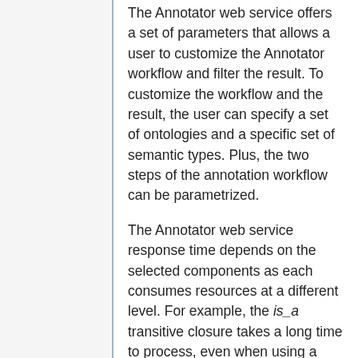The Annotator web service offers a set of parameters that allows a user to customize the Annotator workflow and filter the result. To customize the workflow and the result, the user can specify a set of ontologies and a specific set of semantic types. Plus, the two steps of the annotation workflow can be parametrized.
The Annotator web service response time depends on the selected components as each consumes resources at a different level. For example, the is_a transitive closure takes a long time to process, even when using a pre-computed hierarchy table. As another example, an annotation with wholeWordOnly=false will be significantly longer that with